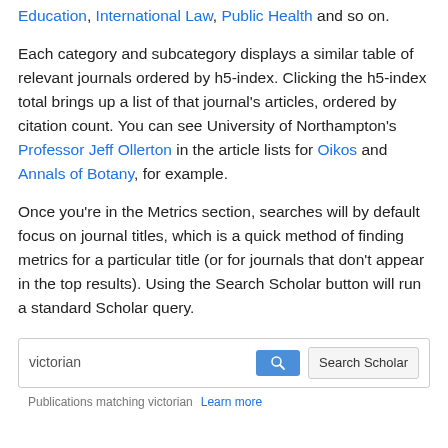Education, International Law, Public Health and so on.
Each category and subcategory displays a similar table of relevant journals ordered by h5-index. Clicking the h5-index total brings up a list of that journal's articles, ordered by citation count. You can see University of Northampton's Professor Jeff Ollerton in the article lists for Oikos and Annals of Botany, for example.
Once you're in the Metrics section, searches will by default focus on journal titles, which is a quick method of finding metrics for a particular title (or for journals that don't appear in the top results). Using the Search Scholar button will run a standard Scholar query.
[Figure (screenshot): A search box UI with text 'victorian' entered, a blue search button with magnifying glass icon, a 'Search Scholar' button, and below: 'Publications matching victorian' and a 'Learn more' link.]